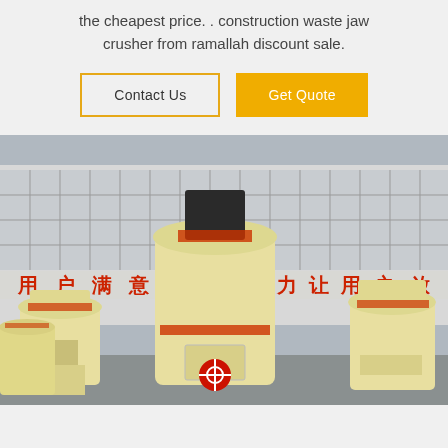the cheapest price. . construction waste jaw crusher from ramallah discount sale.
[Figure (other): Two buttons: 'Contact Us' (outlined) and 'Get Quote' (orange filled)]
[Figure (photo): Industrial grinding/milling machines (large cream-colored cylindrical equipment) in front of a factory building with Chinese characters on banners reading 用户满意 and 全力让用户放.]